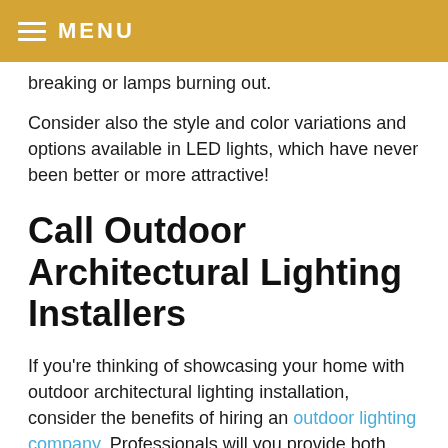MENU
breaking or lamps burning out.
Consider also the style and color variations and options available in LED lights, which have never been better or more attractive!
Call Outdoor Architectural Lighting Installers
If you’re thinking of showcasing your home with outdoor architectural lighting installation,  consider the benefits of hiring an outdoor lighting company. Professionals will you provide both lighting design and installation as well as maintenance. They have the experience and expertise to know the most